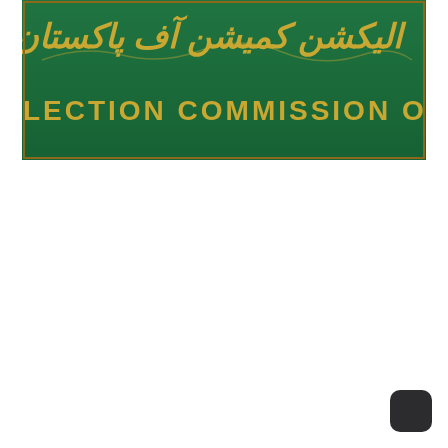[Figure (photo): A green signboard of the Election Commission of Pakistan. The top portion shows Urdu text in gold/brass lettering reading the organization name in Urdu script. Below the Urdu text, in large gold capital letters it reads 'ELECTION COMMISSION OF'. The board has a dark green background with ornate gold lettering.]